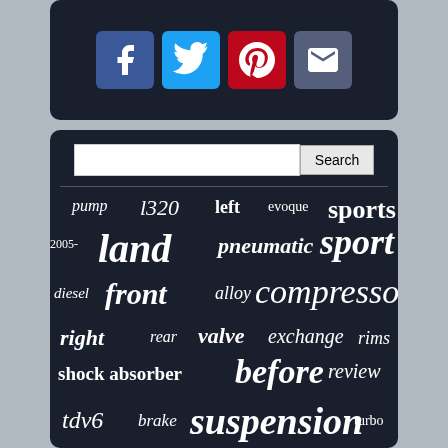[Figure (other): Social media share buttons: Facebook (blue), Twitter (light blue), Pinterest (red), Email (dark blue-grey)]
[Figure (infographic): Word cloud on dark background with Land Rover related terms: pump, l320, left, evoque, sports, land, pneumatic, sport, 2005-, diesel, front, alloy, compressor, right, rear, valve, exchange, rims, shock absorber, before, review, tdv6, brake, suspension, turbo, for, back, range, new, alternator, rover, wheel, shock, strut, discovery]